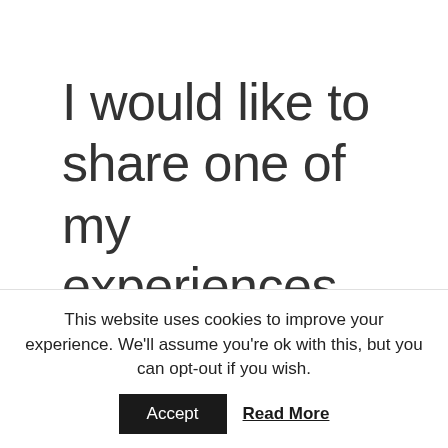I would like to share one of my experiences with Joshua. I first saw him in one of meditations many years ago. Totally
This website uses cookies to improve your experience. We'll assume you're ok with this, but you can opt-out if you wish.
Accept  Read More